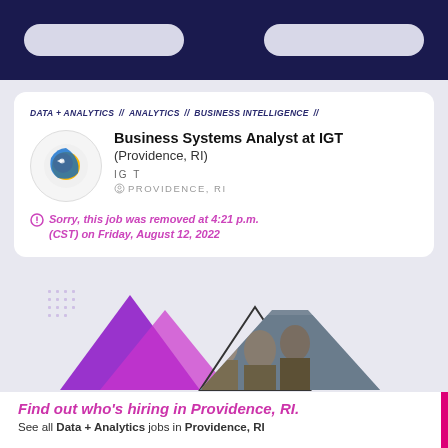DATA + ANALYTICS // ANALYTICS // BUSINESS INTELLIGENCE //
Business Systems Analyst at IGT (Providence, RI)
IGT
PROVIDENCE, RI
Sorry, this job was removed at 4:21 p.m. (CST) on Friday, August 12, 2022
[Figure (photo): Decorative image with purple triangles and a photo of people working together]
Find out who's hiring in Providence, RI.
See all Data + Analytics jobs in Providence, RI